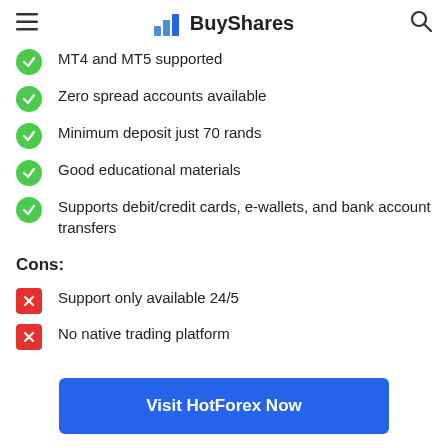BuyShares
MT4 and MT5 supported
Zero spread accounts available
Minimum deposit just 70 rands
Good educational materials
Supports debit/credit cards, e-wallets, and bank account transfers
Cons:
Support only available 24/5
No native trading platform
Visit HotForex Now